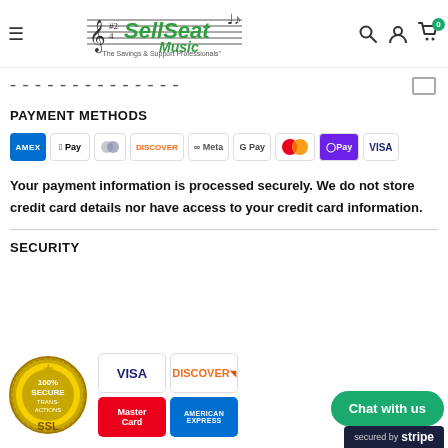SellSeat Music — The Savings & Support Professionals
Payment & Security
PAYMENT METHODS
[Figure (infographic): Payment method logos: Amex, Apple Pay, Diners, Discover, Meta, Google Pay, Mastercard, OPay, Visa]
Your payment information is processed securely. We do not store credit card details nor have access to your credit card information.
SECURITY
[Figure (infographic): Security badges: SSL 100% Secure Transactions seal, Visa, Discover, MasterCard, American Express logos, Chat with us button, secured by Stripe badge]